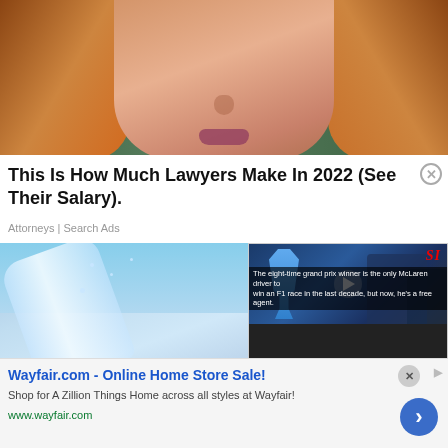[Figure (photo): Close-up photo of a woman with auburn/red hair, showing her face from nose down, with blurred green background]
This Is How Much Lawyers Make In 2022 (See Their Salary).
Attorneys | Search Ads
[Figure (photo): Photo of a plastic water bottle being squeezed with water droplets splashing, against a blue sky background]
[Figure (screenshot): Video overlay thumbnail showing Formula 1 race winner holding a trophy, with SI (Sports Illustrated) branding and play button. Caption reads: The eight-time grand prix winner is the only McLaren driver to win an F1 race in the last decade, but now, he's a free agent.]
Wayfair.com - Online Home Store Sale!
Shop for A Zillion Things Home across all styles at Wayfair!
www.wayfair.com